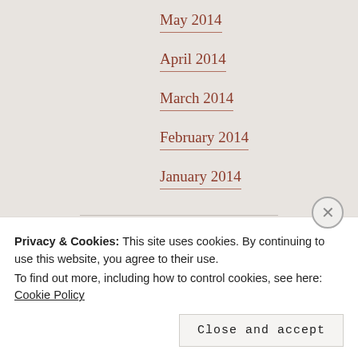May 2014
April 2014
March 2014
February 2014
January 2014
CATEGORIES
beauty
Bride
Privacy & Cookies: This site uses cookies. By continuing to use this website, you agree to their use.
To find out more, including how to control cookies, see here: Cookie Policy
Close and accept